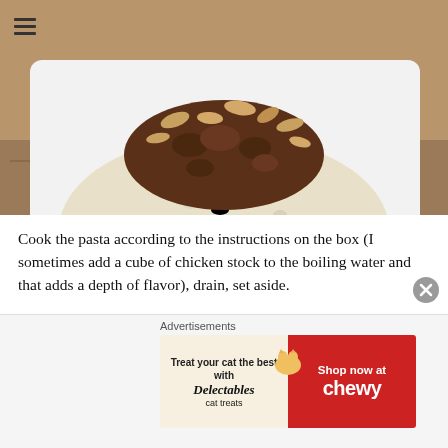[Figure (photo): A white rectangular plate topped with a mound of small pasta (orzo or similar), garnished with spiced ground meat and toasted almonds/nuts, photographed on a granite countertop surface.]
Cook the pasta according to the instructions on the box (I sometimes add a cube of chicken stock to the boiling water and that adds a depth of flavor), drain, set aside.
In a bowl mix the yogurt, sour cream, mint, garlic (do
Advertisements
[Figure (other): Advertisement banner: Treat your cat the best with Delectables cat treats — Shop now at Chewy]